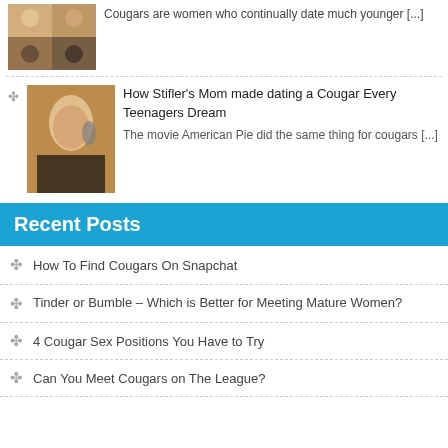Cougars are women who continually date much younger [...]
[Figure (photo): Grid of women's headshot photos]
[Figure (photo): Woman talking on phone]
How Stifler's Mom made dating a Cougar Every Teenagers Dream
The movie American Pie did the same thing for cougars [...]
Recent Posts
How To Find Cougars On Snapchat
Tinder or Bumble – Which is Better for Meeting Mature Women?
4 Cougar Sex Positions You Have to Try
Can You Meet Cougars on The League?